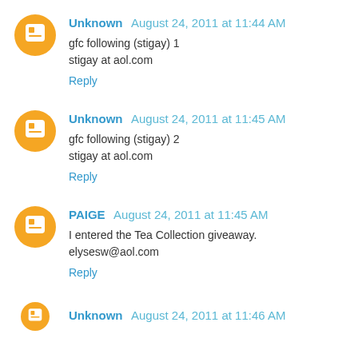Unknown August 24, 2011 at 11:44 AM
gfc following (stigay) 1
stigay at aol.com
Reply
Unknown August 24, 2011 at 11:45 AM
gfc following (stigay) 2
stigay at aol.com
Reply
PAIGE August 24, 2011 at 11:45 AM
I entered the Tea Collection giveaway.
elysesw@aol.com
Reply
Unknown August 24, 2011 at 11:46 AM